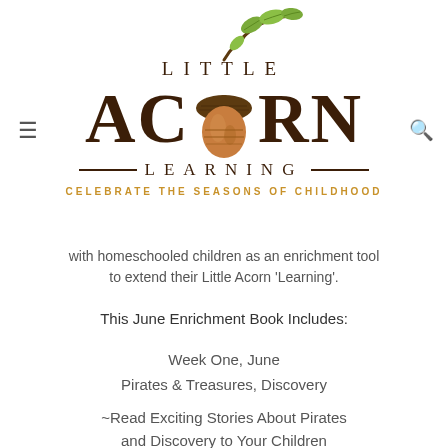[Figure (logo): Little Acorn Learning logo with acorn illustration, oak branch with leaves, decorative lines, and tagline 'Celebrate the Seasons of Childhood']
with homeschooled children as an enrichment tool to extend their Little Acorn 'Learning'.
This June Enrichment Book Includes:
Week One, June
Pirates & Treasures, Discovery
~Read Exciting Stories About Pirates and Discovery to Your Children